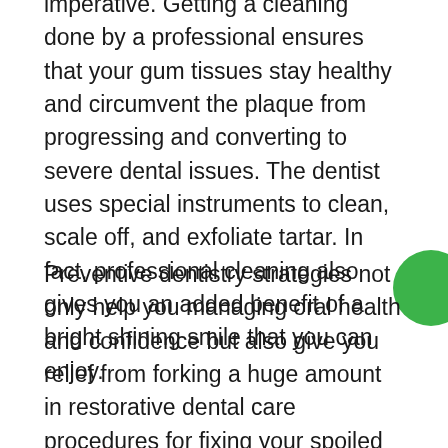imperative. Getting a cleaning done by a professional ensures that your gum tissues stay healthy and circumvent the plaque from progressing and converting to severe dental issues. The dentist uses special instruments to clean, scale off, and exfoliate tartar. In fact, professional cleaning also gives you an added benefit of a bright shining smile that you can enjoy.
Preventive dentistry strategies not only help you managing oral health and confidence but also give you relief from forking a huge amount in restorative dental care procedures for fixing your spoiled teeth and gums.